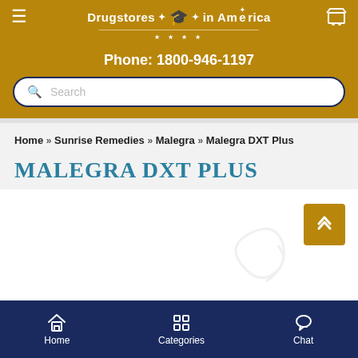Drugstores in America — Phone: 1800-946-1197
Home » Sunrise Remedies » Malegra » Malegra DXT Plus
MALEGRA DXT PLUS
Home   Categories   Chat